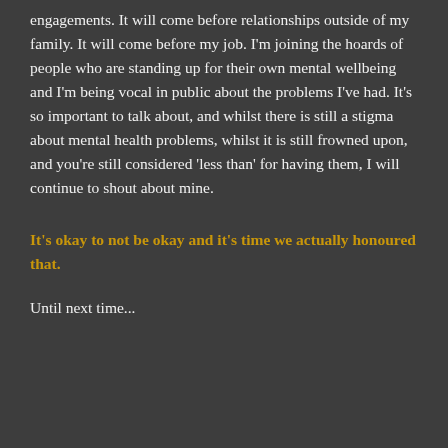engagements. It will come before relationships outside of my family. It will come before my job. I'm joining the hoards of people who are standing up for their own mental wellbeing and I'm being vocal in public about the problems I've had. It's so important to talk about, and whilst there is still a stigma about mental health problems, whilst it is still frowned upon, and you're still considered 'less than' for having them, I will continue to shout about mine.
It's okay to not be okay and it's time we actually honoured that.
Until next time...